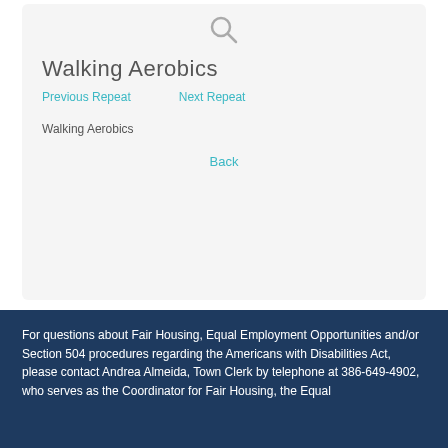[Figure (other): Search magnifying glass icon]
Walking Aerobics
Previous Repeat    Next Repeat
Walking Aerobics
Back
For questions about Fair Housing, Equal Employment Opportunities and/or Section 504 procedures regarding the Americans with Disabilities Act, please contact Andrea Almeida, Town Clerk by telephone at 386-649-4902, who serves as the Coordinator for Fair Housing, the Equal